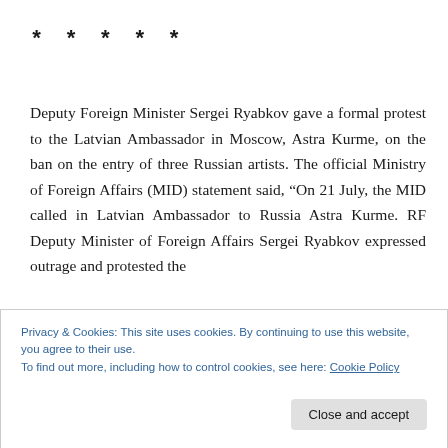* * * * *
Deputy Foreign Minister Sergei Ryabkov gave a formal protest to the Latvian Ambassador in Moscow, Astra Kurme, on the ban on the entry of three Russian artists. The official Ministry of Foreign Affairs (MID) statement said, “On 21 July, the MID called in Latvian Ambassador to Russia Astra Kurme. RF Deputy Minister of Foreign Affairs Sergei Ryabkov expressed outrage and protested the
Privacy & Cookies: This site uses cookies. By continuing to use this website, you agree to their use.
To find out more, including how to control cookies, see here: Cookie Policy
Close and accept